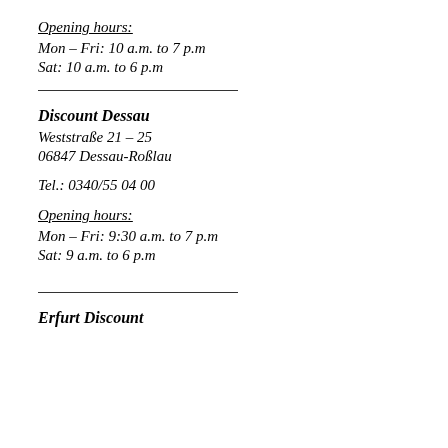Opening hours:
Mon – Fri: 10 a.m. to 7 p.m
Sat: 10 a.m. to 6 p.m
Discount Dessau
Weststraße 21 – 25
06847 Dessau-Roßlau
Tel.: 0340/55 04 00
Opening hours:
Mon – Fri: 9:30 a.m. to 7 p.m
Sat: 9 a.m. to 6 p.m
Erfurt Discount